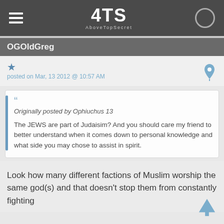[Figure (screenshot): ATS (AboveTopSecret) website navigation bar with hamburger menu, logo, and contrast toggle icon]
OGOldGreg
posted on Mar, 13 2012 @ 10:57 AM
Originally posted by Ophiuchus 13

The JEWS are part of Judaisim? And you should care my friend to better understand when it comes down to personal knowledge and what side you may chose to assist in spirit.
Look how many different factions of Muslim worship the same god(s) and that doesn't stop them from constantly fighting